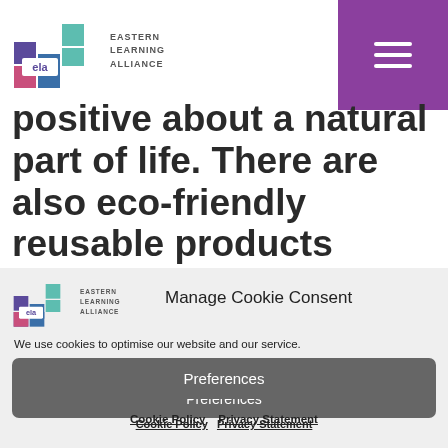[Figure (logo): Eastern Learning Alliance logo - colorful stacked blocks with 'ela' text and 'EASTERN LEARNING ALLIANCE' wordmark]
[Figure (illustration): Purple hamburger menu button in top-right corner]
positive about a natural part of life. There are also eco-friendly reusable products available. All totally free to our students.
[Figure (logo): Eastern Learning Alliance logo - small version inside cookie modal]
Manage Cookie Consent
We use cookies to optimise our website and our service.
Accept
Deny
Preferences
Cookie Policy   Privacy Statement